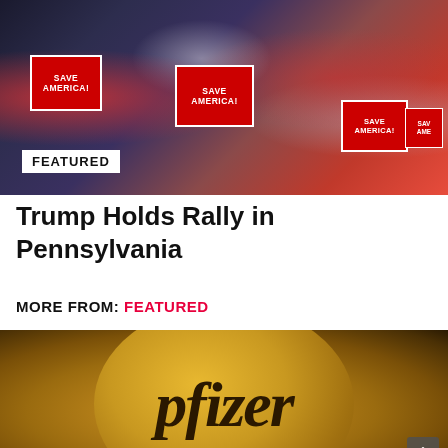[Figure (photo): A crowd at a Trump rally holding red 'SAVE AMERICA!' signs, with American flags visible in the background. A 'FEATURED' label badge overlaid at the bottom left of the image.]
Trump Holds Rally in Pennsylvania
MORE FROM: FEATURED
[Figure (photo): Close-up of the illuminated Pfizer logo sign, gold/bronze colored circular logo on dark background.]